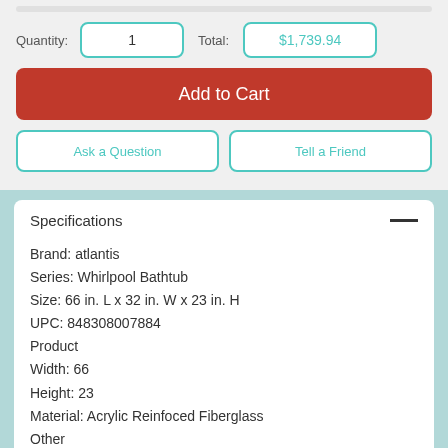Quantity: 1   Total: $1,739.94
Add to Cart
Ask a Question
Tell a Friend
Specifications
Brand: atlantis
Series: Whirlpool Bathtub
Size: 66 in. L x 32 in. W x 23 in. H
UPC: 848308007884
Product
Width: 66
Height: 23
Material: Acrylic Reinfoced Fiberglass
Other